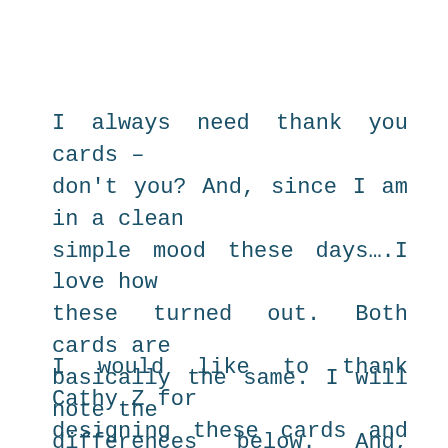I always need thank you cards – don't you? And, since I am in a clean simple mood these days….I love how these turned out. Both cards are basically the same. I will note the differences below. And, the video has all the tips and tricks. It's a short one too!
I would like to thank Cathy Z for designing these cards and coming